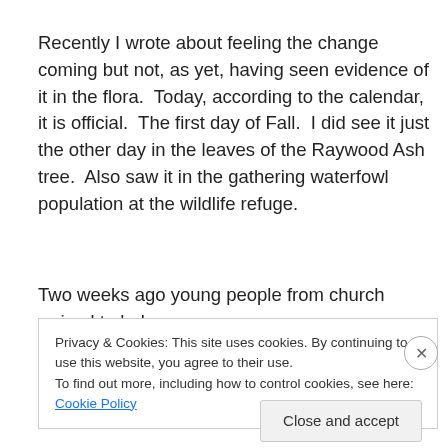Recently I wrote about feeling the change coming but not, as yet, having seen evidence of it in the flora.  Today, according to the calendar, it is official.  The first day of Fall.  I did see it just the other day in the leaves of the Raywood Ash tree.  Also saw it in the gathering waterfowl population at the wildlife refuge.
Two weeks ago young people from church arrived to help
Privacy & Cookies: This site uses cookies. By continuing to use this website, you agree to their use.
To find out more, including how to control cookies, see here: Cookie Policy
Close and accept